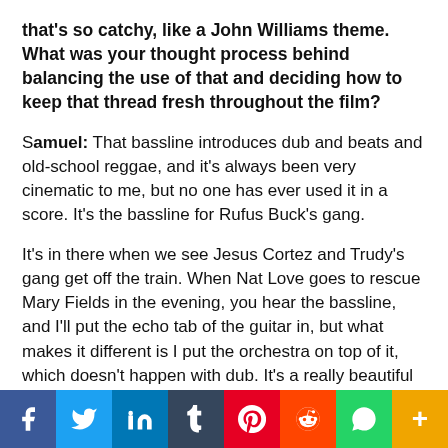that's so catchy, like a John Williams theme. What was your thought process behind balancing the use of that and deciding how to keep that thread fresh throughout the film?
Samuel: That bassline introduces dub and beats and old-school reggae, and it's always been very cinematic to me, but no one has ever used it in a score. It's the bassline for Rufus Buck's gang.
It's in there when we see Jesus Cortez and Trudy's gang get off the train. When Nat Love goes to rescue Mary Fields in the evening, you hear the bassline, and I'll put the echo tab of the guitar in, but what makes it different is I put the orchestra on top of it, which doesn't happen with dub. It's a really beautiful and super cinematic amalgamation of world sonics.
[Figure (other): Social media sharing bar with icons for Facebook, Twitter, LinkedIn, Tumblr, Pinterest, Reddit, WhatsApp, and More]